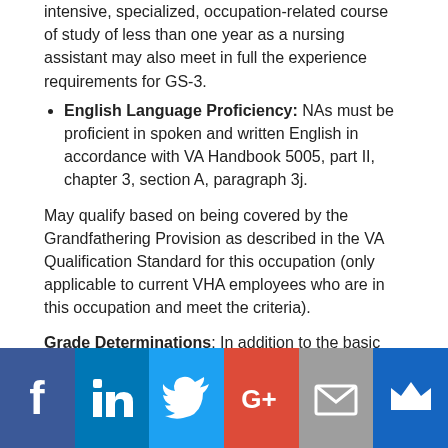intensive, specialized, occupation-related course of study of less than one year as a nursing assistant may also meet in full the experience requirements for GS-3.
English Language Proficiency: NAs must be proficient in spoken and written English in accordance with VA Handbook 5005, part II, chapter 3, section A, paragraph 3j.
May qualify based on being covered by the Grandfathering Provision as described in the VA Qualification Standard for this occupation (only applicable to current VHA employees who are in this occupation and meet the criteria).
Grade Determinations: In addition to the basic requirements for employment, the following criteria must be met when determining the grade of candidates.
GS-3 (Entry Level)
[Figure (infographic): Social sharing bar with six buttons: Facebook (blue), LinkedIn (blue), Twitter (light blue), Google+ (red), Email (gray), Crown/bookmark (dark blue)]